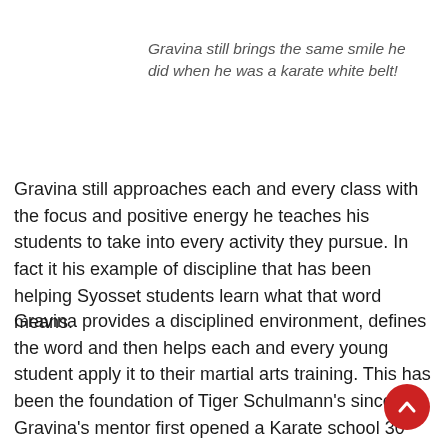Gravina still brings the same smile he did when he was a karate white belt!
Gravina still approaches each and every class with the focus and positive energy he teaches his students to take into every activity they pursue. In fact it his example of discipline that has been helping Syosset students learn what that word means.
Gravina provides a disciplined environment, defines the word and then helps each and every young student apply it to their martial arts training. This has been the foundation of Tiger Schulmann’s since Gravina’s mentor first opened a Karate school 30 years ago.